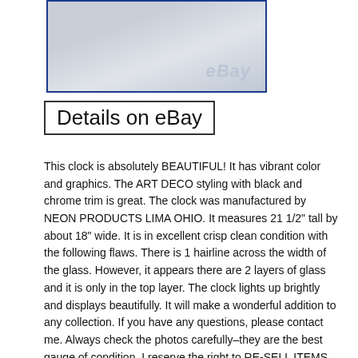[Figure (photo): Partial photo of an item with eBay watermark, shown inside a blue-bordered frame]
Details on eBay
This clock is absolutely BEAUTIFUL! It has vibrant color and graphics. The ART DECO styling with black and chrome trim is great. The clock was manufactured by NEON PRODUCTS LIMA OHIO. It measures 21 1/2" tall by about 18" wide. It is in excellent crisp clean condition with the following flaws. There is 1 hairline across the width of the glass. However, it appears there are 2 layers of glass and it is only in the top layer. The clock lights up brightly and displays beautifully. It will make a wonderful addition to any collection. If you have any questions, please contact me. Always check the photos carefully–they are the best gauge of condition. I reserve the right to RE-SELL ITEMS NOT PAID for by THURSDAY MORNING. Please check out my other listings. The item “VTG 1930RARE BPS PAINT LIGHTED ELECTRIC ADVERTISING CLOCK SIGN NEON PRODUCTS” is in sale since Sunday, June 12, 2016. This item is in the category “Collectibles\Advertising\Merchandise & Memorabilia\Clocks”. The seller is “guildbrosantiques” and is